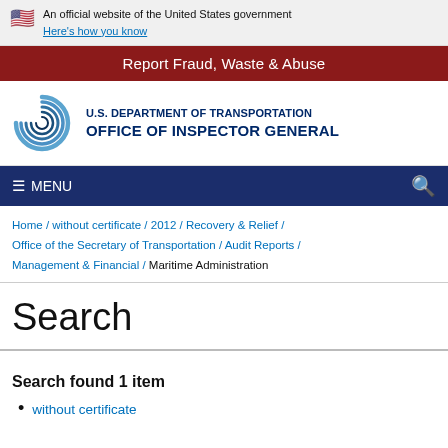An official website of the United States government Here's how you know
Report Fraud, Waste & Abuse
[Figure (logo): U.S. Department of Transportation Office of Inspector General logo with circular blue swirl emblem]
≡ MENU
Home / without certificate / 2012 / Recovery & Relief / Office of the Secretary of Transportation / Audit Reports / Management & Financial / Maritime Administration
Search
Search found 1 item
without certificate